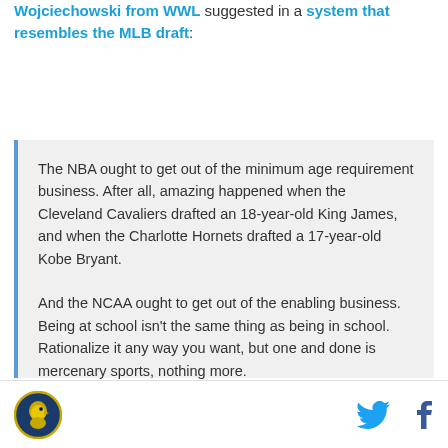Wojciechowski from WWL suggested in a system that resembles the MLB draft:
The NBA ought to get out of the minimum age requirement business. After all, amazing happened when the Cleveland Cavaliers drafted an 18-year-old King James, and when the Charlotte Hornets drafted a 17-year-old Kobe Bryant.

And the NCAA ought to get out of the enabling business. Being at school isn't the same thing as being in school. Rationalize it any way you want, but one and done is mercenary sports, nothing more.

But if the NBA insists on an age minimum, then the